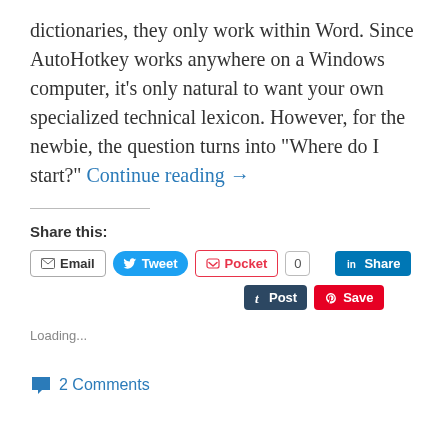dictionaries, they only work within Word. Since AutoHotkey works anywhere on a Windows computer, it’s only natural to want your own specialized technical lexicon. However, for the newbie, the question turns into “Where do I start?” Continue reading →
Share this:
Email  Tweet  Pocket  0  Share  Post  Save
Loading...
2 Comments